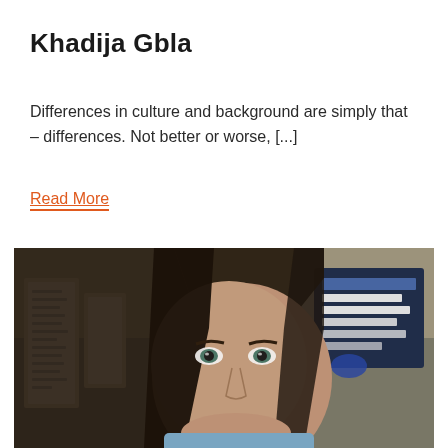Khadija Gbla
Differences in culture and background are simply that – differences. Not better or worse, [...]
Read More
[Figure (photo): Close-up photo of a woman with long dark hair and blue/green eyes, looking at the camera with a slight smile, wearing a light blue top. Background shows a room with framed items on the wall and what appears to be a sign or poster.]